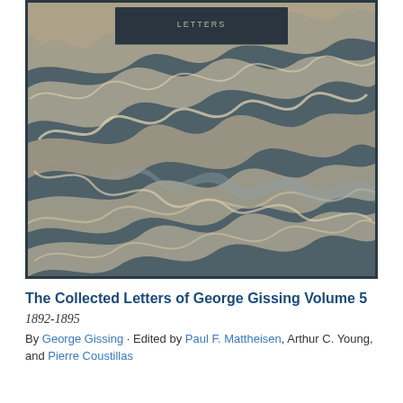[Figure (illustration): Book cover of 'The Collected Letters of George Gissing Volume 5' showing a marbled paper pattern in dark teal/grey and cream/beige swirling design, with a dark rectangular label at the top center partially visible showing text 'Letters']
The Collected Letters of George Gissing Volume 5
1892-1895
By George Gissing · Edited by Paul F. Mattheisen, Arthur C. Young, and Pierre Coustillas